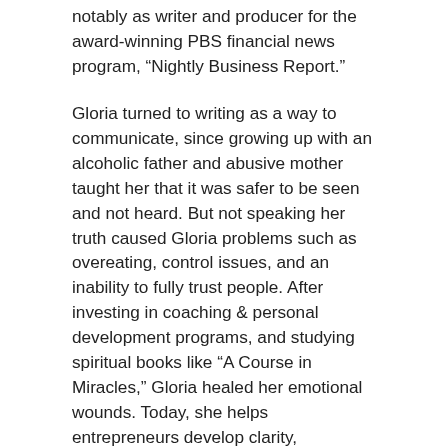notably as writer and producer for the award-winning PBS financial news program, “Nightly Business Report.”
Gloria turned to writing as a way to communicate, since growing up with an alcoholic father and abusive mother taught her that it was safer to be seen and not heard. But not speaking her truth caused Gloria problems such as overeating, control issues, and an inability to fully trust people. After investing in coaching & personal development programs, and studying spiritual books like “A Course in Miracles,” Gloria healed her emotional wounds. Today, she helps entrepreneurs develop clarity, confidence and connection to the truth of who you are, so you can create a business that has more impact, influence and income!